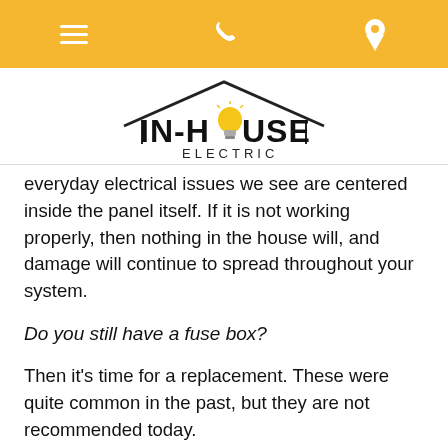[navigation icons: menu, phone, location]
[Figure (logo): In-House Electric logo with house roofline silhouette and lightbulb replacing the 'O' in HOUSE]
everyday electrical issues we see are centered inside the panel itself. If it is not working properly, then nothing in the house will, and damage will continue to spread throughout your system.
Do you still have a fuse box?
Then it's time for a replacement. These were quite common in the past, but they are not recommended today.